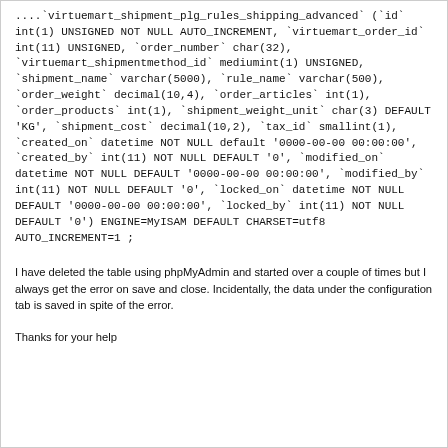....`virtuemart_shipment_plg_rules_shipping_advanced` (`id` int(1) UNSIGNED NOT NULL AUTO_INCREMENT, `virtuemart_order_id` int(11) UNSIGNED, `order_number` char(32), `virtuemart_shipmentmethod_id` mediumint(1) UNSIGNED, `shipment_name` varchar(5000), `rule_name` varchar(500), `order_weight` decimal(10,4), `order_articles` int(1), `order_products` int(1), `shipment_weight_unit` char(3) DEFAULT 'KG', `shipment_cost` decimal(10,2), `tax_id` smallint(1), `created_on` datetime NOT NULL default '0000-00-00 00:00:00', `created_by` int(11) NOT NULL DEFAULT '0', `modified_on` datetime NOT NULL DEFAULT '0000-00-00 00:00:00', `modified_by` int(11) NOT NULL DEFAULT '0', `locked_on` datetime NOT NULL DEFAULT '0000-00-00 00:00:00', `locked_by` int(11) NOT NULL DEFAULT '0') ENGINE=MyISAM DEFAULT CHARSET=utf8 AUTO_INCREMENT=1 ;
I have deleted the table using phpMyAdmin and started over a couple of times but I always get the error on save and close. Incidentally, the data under the configuration tab is saved in spite of the error.
Thanks for your help